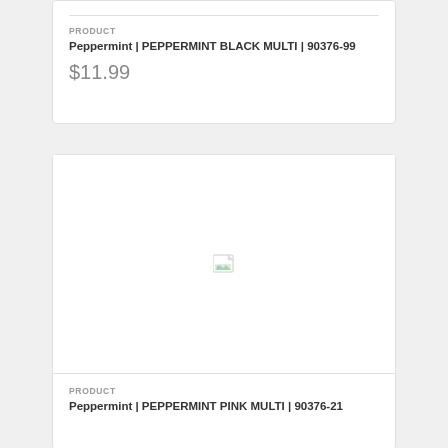PRODUCT
Peppermint | PEPPERMINT BLACK MULTI | 90376-99
$11.99
[Figure (photo): Broken/missing product image placeholder for second product card]
PRODUCT
Peppermint | PEPPERMINT PINK MULTI | 90376-21